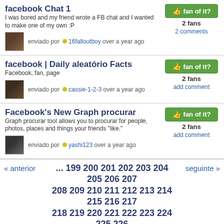facebook Chat 1
I was bored and my friend wrote a FB chat and I wanted to make one of my own :P
enviado por 16falloutboy over a year ago
2 comments
facebook | Daily aleatório Facts
Facebook, fan, page
enviado por cassie-1-2-3 over a year ago
2 fans
add comment
Facebook's New Graph procurar
Graph procurar tool allows you to procurar for people, photos, places and things your friends "like."
enviado por yashi123 over a year ago
2 fans
add comment
« anterior ... 199 200 201 202 203 204 205 206 207 208 209 210 211 212 213 214 215 216 217 218 219 220 221 222 223 224 225 226 227 228 229 230 231 232 233 234 235 236 237 238 239 240 241 242 243 244 245 246 247 248 249 250 251 252 253 254 255 256 257 258 259 260 261 262 263 264 265 266 267 268 269 270 271 272 273 274 275 276 277 278 279 280 seguinte »